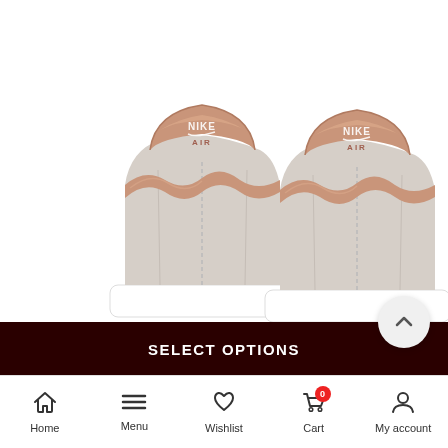[Figure (photo): Rear view of two Nike Air Force 1 sneakers in white/light beige with rose gold metallic heel tabs and Nike branding, displayed against a white background]
SELECT OPTIONS
Home  Menu  Wishlist  Cart  My account